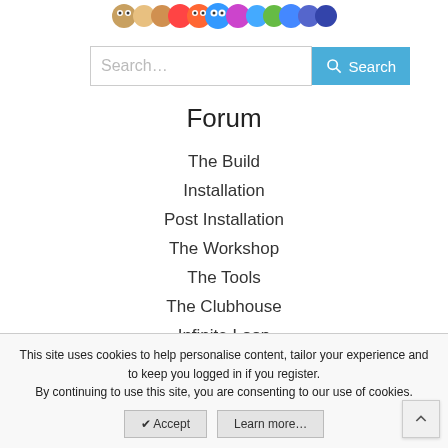[Figure (illustration): Colorful cartoon monster/creature characters banner graphic at top of page]
[Figure (screenshot): Search bar with placeholder text 'Search...' and a cyan 'Search' button with magnifying glass icon]
Forum
The Build
Installation
Post Installation
The Workshop
The Tools
The Clubhouse
Infinite Loop
Laptops
Guides
This site uses cookies to help personalise content, tailor your experience and to keep you logged in if you register.
By continuing to use this site, you are consenting to our use of cookies.